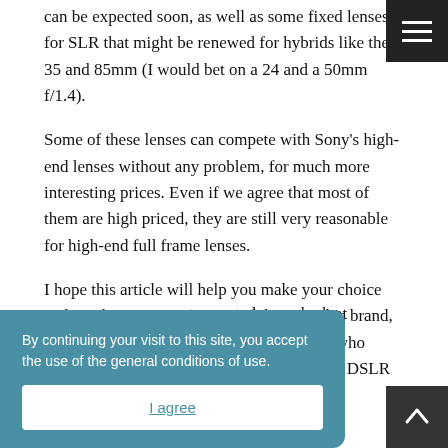can be expected soon, as well as some fixed lenses for SLR that might be renewed for hybrids like the 35 and 85mm (I would bet on a 24 and a 50mm f/1.4).
Some of these lenses can compete with Sony's high-end lenses without any problem, for much more interesting prices. Even if we agree that most of them are high priced, they are still very reasonable for high-end full frame lenses.
I hope this article will help you make your choice and maybe give you more confidence in this brand, especially for the few disappointed people who might have known older and less successful DSLR versions.
...te you to have a look at [mirrorless cameras]. You'll ... best tips for choosing ...
By continuing your visit to this site, you accept the use of the general conditions of use.
I agree